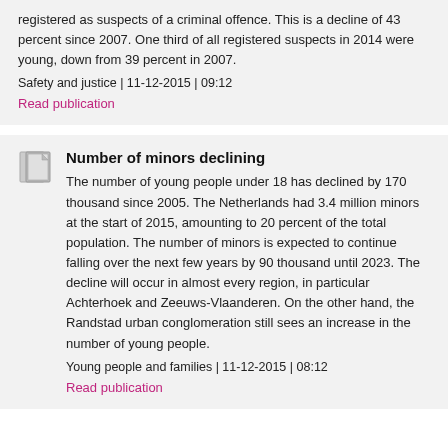registered as suspects of a criminal offence. This is a decline of 43 percent since 2007. One third of all registered suspects in 2014 were young, down from 39 percent in 2007.
Safety and justice | 11-12-2015 | 09:12
Read publication
Number of minors declining
The number of young people under 18 has declined by 170 thousand since 2005. The Netherlands had 3.4 million minors at the start of 2015, amounting to 20 percent of the total population. The number of minors is expected to continue falling over the next few years by 90 thousand until 2023. The decline will occur in almost every region, in particular Achterhoek and Zeeuws-Vlaanderen. On the other hand, the Randstad urban conglomeration still sees an increase in the number of young people.
Young people and families | 11-12-2015 | 08:12
Read publication